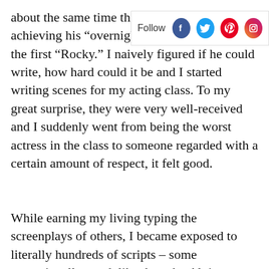about the same time that Syl achieving his "overnight" succ the first "Rocky." I naively figured if he could write, how hard could it be and I started writing scenes for my acting class. To my great surprise, they were very well-received and I suddenly went from being the worst actress in the class to someone regarded with a certain amount of respect, it felt good.
[Figure (other): Social media follow bar with Facebook, Twitter, Pinterest, and Instagram icons]
While earning my living typing the screenplays of others, I became exposed to literally hundreds of scripts – some exceptionally good, like those by Alvin Sargent and Fay Kanin, and some exceptionally bad by writers never to be heard from again. I learned from all of them. My forté became the realm of the TV-Movie. I would an original idea or I would get an assignment to write a
BACK TO TOP